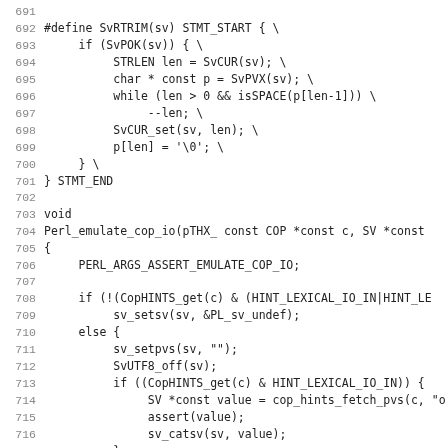Code listing lines 691-722, C/Perl source code
691
692 #define SvRTRIM(sv) STMT_START { \
693     if (SvPOK(sv)) { \
694         STRLEN len = SvCUR(sv); \
695         char * const p = SvPVX(sv); \
696         while (len > 0 && isSPACE(p[len-1])) \
697             --len; \
698         SvCUR_set(sv, len); \
699         p[len] = '\0'; \
700     } \
701 } STMT_END
702
703 void
704 Perl_emulate_cop_io(pTHX_ const COP *const c, SV *const
705 {
706     PERL_ARGS_ASSERT_EMULATE_COP_IO;
707
708     if (!(CopHINTS_get(c) & (HINT_LEXICAL_IO_IN|HINT_LE
709         sv_setsv(sv, &PL_sv_undef);
710     else {
711         sv_setpvs(sv, "");
712         SvUTF8_off(sv);
713         if ((CopHINTS_get(c) & HINT_LEXICAL_IO_IN)) {
714             SV *const value = cop_hints_fetch_pvs(c, "o
715             assert(value);
716             sv_catsv(sv, value);
717         }
718         sv_catpvs(sv, "\0");
719         if ((CopHINTS_get(c) & HINT_LEXICAL_IO_OUT)) {
720             SV *const value = cop_hints_fetch_pvs(c, "o
721             assert(value);
722             sv_catsv(sv, value);